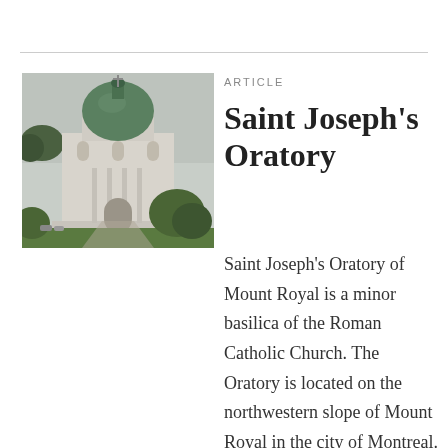[Figure (photo): Photograph of Saint Joseph's Oratory, a large domed church with green copper dome, white stone facade, surrounded by trees and green lawn, overcast sky.]
ARTICLE
Saint Joseph's Oratory
Saint Joseph's Oratory of Mount Royal is a minor basilica of the Roman Catholic Church. The Oratory is located on the northwestern slope of Mount Royal in the city of Montreal. (See also Côte-des-Neiges.) It is the tallest church in Canada and one of the largest domed structures in the world. The